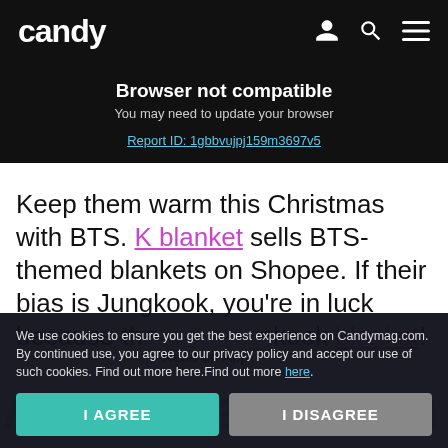candy
Browser not compatible
You may need to update your browser
Report ID: 1gbbvujpj159m3697v5
Keep them warm this Christmas with BTS. K blanket sells BTS-themed blankets on Shopee. If their bias is Jungkook, you're in luck because the [Read on App] Jungkook blanket!
[Figure (other): Watermark/background image showing partial text 'KBLA...' and 'KET' repeated in blue stamp style on grid background]
We use cookies to ensure you get the best experience on Candymag.com. By continued use, you agree to our privacy policy and accept our use of such cookies. Find out more here.Find out more here.